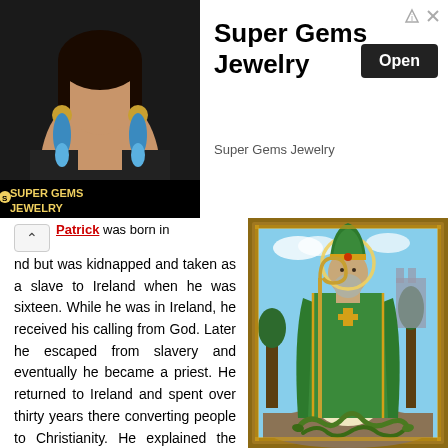[Figure (advertisement): Ad banner for Super Gems Jewelry showing a woman wearing blue gem earrings with the store logo]
Super Gems Jewelry
Super Gems Jewelry
nd but was kidnapped and taken as a slave to Ireland when he was sixteen. While he was in Ireland, he received his calling from God. Later he escaped from slavery and eventually he became a priest. He returned to Ireland and spent over thirty years there converting people to Christianity. He explained the Holy Trinity (the Father, the Son and the Holy Ghost) using a three-leaved plant. That's the very reason why St. Patrick's Day is not just spent on church
[Figure (illustration): Illustration of Saint Patrick wearing green robes and bishop's mitre, holding a golden staff, with snakes at his feet, set in an ornate decorative border]